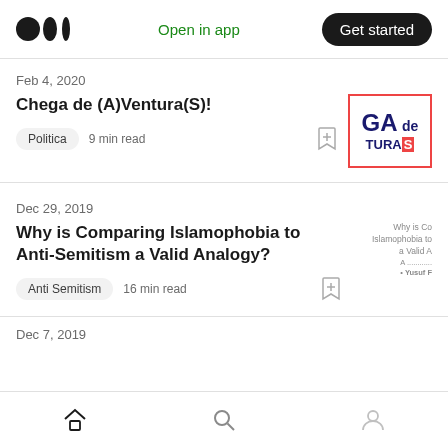Medium app header with logo, Open in app, Get started
Feb 4, 2020
Chega de (A)Ventura(S)!
Politica  9 min read
Dec 29, 2019
Why is Comparing Islamophobia to Anti-Semitism a Valid Analogy?
Anti Semitism  16 min read
Dec 7, 2019
Home  Search  Profile